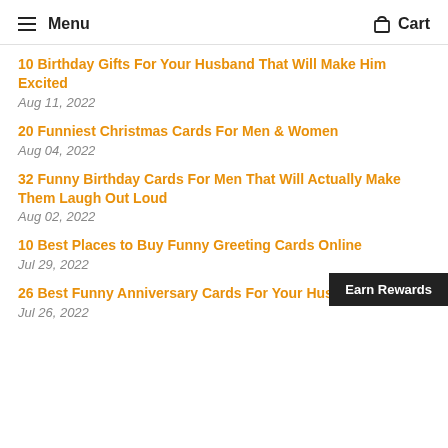Menu  Cart
10 Birthday Gifts For Your Husband That Will Make Him Excited
Aug 11, 2022
20 Funniest Christmas Cards For Men & Women
Aug 04, 2022
32 Funny Birthday Cards For Men That Will Actually Make Them Laugh Out Loud
Aug 02, 2022
10 Best Places to Buy Funny Greeting Cards Online
Jul 29, 2022
26 Best Funny Anniversary Cards For Your Husband
Jul 26, 2022
Earn Rewards